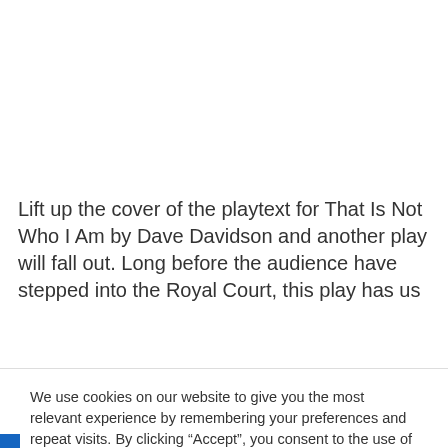Lift up the cover of the playtext for That Is Not Who I Am by Dave Davidson and another play will fall out. Long before the audience have stepped into the Royal Court, this play has us
We use cookies on our website to give you the most relevant experience by remembering your preferences and repeat visits. By clicking “Accept”, you consent to the use of ALL the cookies.
Do not sell my personal information.